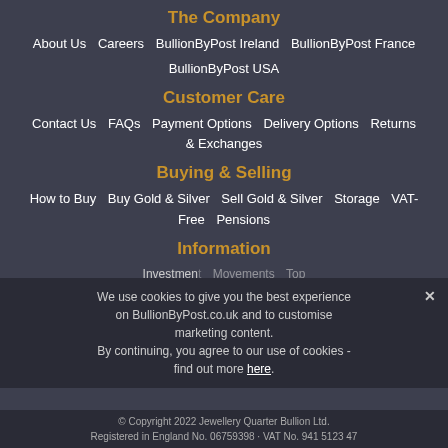The Company
About Us   Careers   BullionByPost Ireland   BullionByPost France
BullionByPost USA
Customer Care
Contact Us   FAQs   Payment Options   Delivery Options   Returns & Exchanges
Buying & Selling
How to Buy   Buy Gold & Silver   Sell Gold & Silver   Storage   VAT-Free   Pensions
Information
Investment   Movements   Top 5 Silver   Index
We use cookies to give you the best experience on BullionByPost.co.uk and to customise marketing content. By continuing, you agree to our use of cookies - find out more here
© Copyright 2022 Jewellery Quarter Bullion Ltd. Registered in England No. 06759398 · VAT No. 941 5123 47